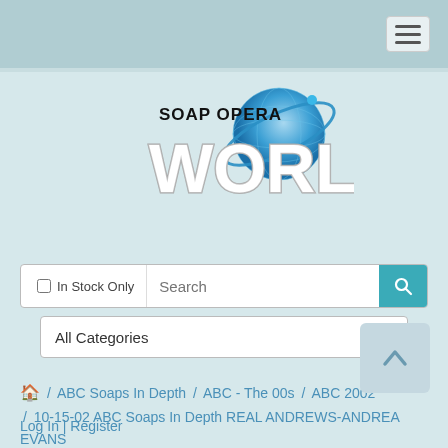[Figure (logo): Soap Opera World logo with globe graphic and text 'SOAP OPERA WORLD']
In Stock Only  Search
All Categories
🏠 / ABC Soaps In Depth / ABC - The 00s / ABC 2002 / 10-15-02 ABC Soaps In Depth REAL ANDREWS-ANDREA EVANS
Log In | Register